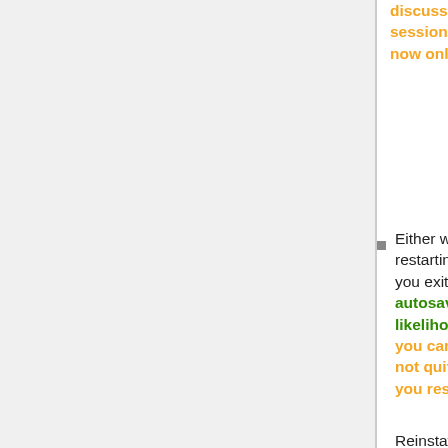discuss what is the most appropriate behaviour e.g. always popup on second export in session? This is not a crashing bug, and not having tags isn't a dire problem, so this is now only an aim-to.
Either warn when Prefs closed with autosave turned off, or ensure that Audacity warns when restarting after crash with autosave disabled: (1) that temp files are present (2) does not let you exit without reminding of you of those files. Users experienced enough to turn off autosave aren't total newbies. Should expect that turning off autosave reduces likelihood of recovery from errors. Fix not essential. JC This does miss the point that you can accidentally turn off autosave especially if using the keyboard - IMHO though not quite essential it is very important given Audacity gives you no help at all when you restart after a crash with autosave off.(GA)
Reinstate ability to import multiple files from...